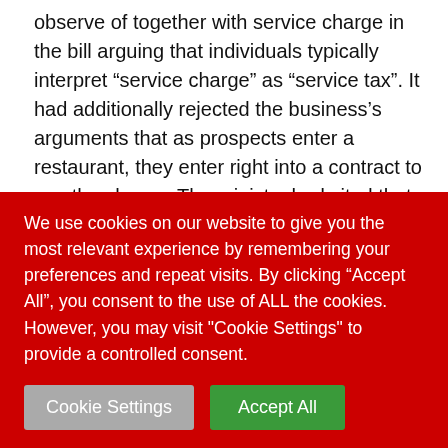observe of together with service charge in the bill arguing that individuals typically interpret “service charge” as “service tax”. It had additionally rejected the business’s arguments that as prospects enter a restaurant, they enter right into a contract to pay the charge. The ministry had cited that the present Consumer Protection Act specifies unfair contracts that adversely influence the shoppers. Goyal mentioned there are some nations the place service charge is obligatory and therefore individuals are conscious of the norms. But in India, there is no such rule or legislation
We use cookies on our website to give you the most relevant experience by remembering your preferences and repeat visits. By clicking “Accept All”, you consent to the use of ALL the cookies. However, you may visit “Cookie Settings” to provide a controlled consent.